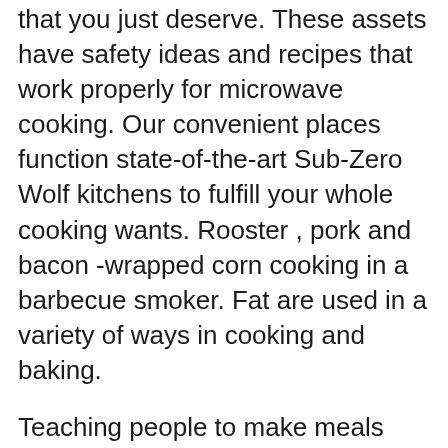that you just deserve. These assets have safety ideas and recipes that work properly for microwave cooking. Our convenient places function state-of-the-art Sub-Zero Wolf kitchens to fulfill your whole cooking wants. Rooster , pork and bacon -wrapped corn cooking in a barbecue smoker. Fat are used in a variety of ways in cooking and baking.
Teaching people to make meals forward of time can stop food waste and lower your expenses. These will be the items you employ in the Pokemon Quest Cooking Recipes listed above. Hi, I am Jess the Founding father of Cook Smarts, and I utterly perceive how exhausting it can be to get dinner on the table when youngsters, commute, work, and